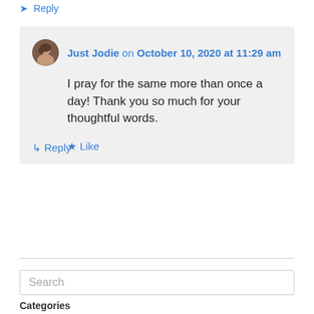↪ Reply
Just Jodie on October 10, 2020 at 11:29 am

I pray for the same more than once a day! Thank you so much for your thoughtful words.

★ Like

↳ Reply
Search
Categories
Healing Trauma (565)
Personal (27)